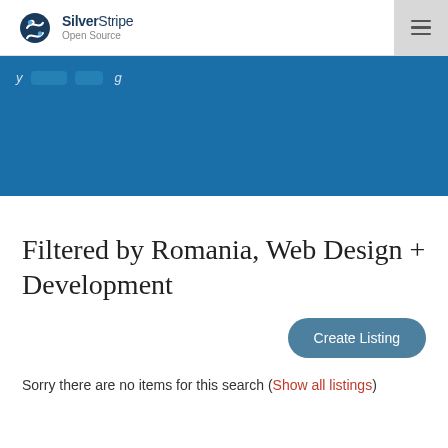SilverStripe Open Source
[Figure (screenshot): Blue banner with partial navigation elements and two button-like elements visible at the top]
Filtered by Romania, Web Design + Development
Create Listing
Sorry there are no items for this search (Show all listings)